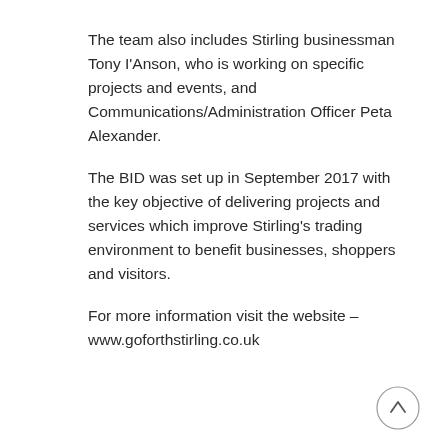The team also includes Stirling businessman Tony I'Anson, who is working on specific projects and events, and Communications/Administration Officer Peta Alexander.
The BID was set up in September 2017 with the key objective of delivering projects and services which improve Stirling's trading environment to benefit businesses, shoppers and visitors.
For more information visit the website – www.goforthstirling.co.uk